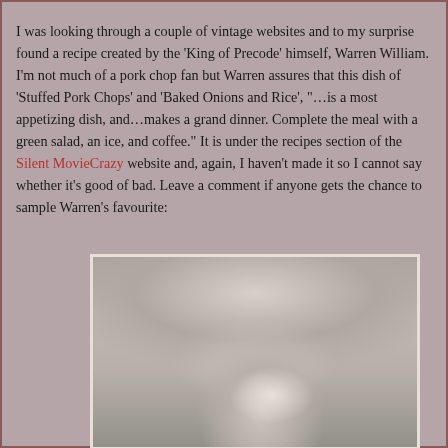I was looking through a couple of vintage websites and to my surprise found a recipe created by the ‘King of Precode’ himself, Warren William. I’m not much of a pork chop fan but Warren assures that this dish of ‘Stuffed Pork Chops’ and ‘Baked Onions and Rice’, “…is a most appetizing dish, and…makes a grand dinner. Complete the meal with a green salad, an ice, and coffee.” It is under the recipes section of the Silent MovieCrazy website and, again, I haven’t made it so I cannot say whether it’s good of bad. Leave a comment if anyone gets the chance to sample Warren’s favourite:
[Figure (photo): Black and white photograph of a man (Warren William) leaning over, appears to be outdoors with trees in the background]